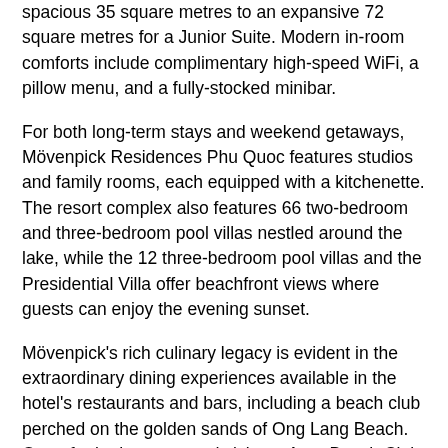spacious 35 square metres to an expansive 72 square metres for a Junior Suite. Modern in-room comforts include complimentary high-speed WiFi, a pillow menu, and a fully-stocked minibar.
For both long-term stays and weekend getaways, Mövenpick Residences Phu Quoc features studios and family rooms, each equipped with a kitchenette. The resort complex also features 66 two-bedroom and three-bedroom pool villas nestled around the lake, while the 12 three-bedroom pool villas and the Presidential Villa offer beachfront views where guests can enjoy the evening sunset.
Mövenpick's rich culinary legacy is evident in the extraordinary dining experiences available in the hotel's restaurants and bars, including a beach club perched on the golden sands of Ong Lang Beach. Open for both guests and visitors, Aura Beach Club features a sunken pool bar, a delectable Asian Tapas